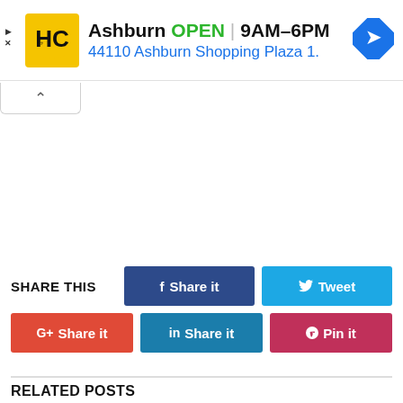[Figure (infographic): Advertisement banner for HC (Honest Cooking or similar) showing Ashburn location: OPEN 9AM-6PM, address 44110 Ashburn Shopping Plaza 1. with navigation icon, yellow HC logo, play and close ad controls]
[Figure (infographic): Collapse/minimize tab with upward chevron arrow]
SHARE THIS
Share it (Facebook)
Tweet (Twitter)
G+ Share it (Google Plus)
in Share it (LinkedIn)
Pin it (Pinterest)
RELATED POSTS